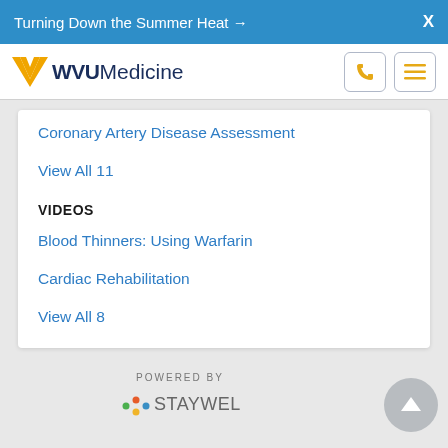Turning Down the Summer Heat →  X
[Figure (logo): WVU Medicine logo with stylized flying WV icon in gold and WVU Medicine text in navy blue]
Coronary Artery Disease Assessment
View All 11
VIDEOS
Blood Thinners: Using Warfarin
Cardiac Rehabilitation
View All 8
POWERED BY
[Figure (logo): StayWell logo with colorful dots and stylized text in gray]